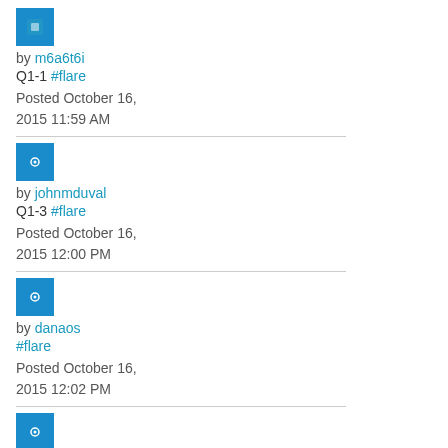[Figure (other): Blue avatar icon for user m6a6t6i]
by m6a6t6i
Q1-1 #flare
Posted October 16, 2015 11:59 AM
[Figure (other): Blue avatar icon for user johnmduval]
by johnmduval
Q1-3 #flare
Posted October 16, 2015 12:00 PM
[Figure (other): Blue avatar icon for user danaos]
by danaos
#flare
Posted October 16, 2015 12:02 PM
[Figure (other): Blue avatar icon for user phahles]
by phahles
Q1-1 #variable #flare